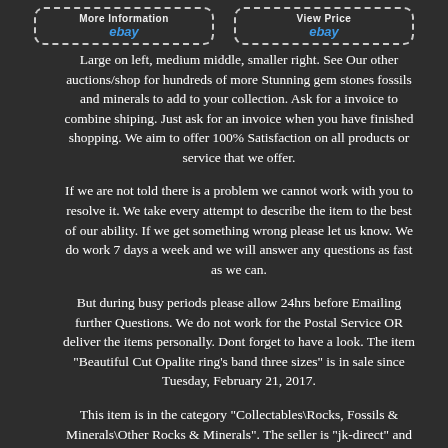[Figure (screenshot): Two eBay buttons with dashed borders at top of page - 'More Information' and 'View Price' buttons with eBay logo]
Large on left, medium middle, smaller right. See Our other auctions/shop for hundreds of more Stunning gem stones fossils and minerals to add to your collection. Ask for a invoice to combine shiping. Just ask for an invoice when you have finished shopping. We aim to offer 100% Satisfaction on all products or service that we offer.
If we are not told there is a problem we cannot work with you to resolve it. We take every attempt to describe the item to the best of our ability. If we get something wrong please let us know. We do work 7 days a week and we will answer any questions as fast as we can.
But during busy periods please allow 24hrs before Emailing further Questions. We do not work for the Postal Service OR deliver the items personally. Dont forget to have a look. The item "Beautiful Cut Opalite ring's band three sizes" is in sale since Tuesday, February 21, 2017.
This item is in the category "Collectables\Rocks, Fossils & Minerals\Other Rocks & Minerals". The seller is "jk-direct" and is located in Kettering. This item can be shipped worldwide. Shape: ring - band Country/Region of Manufacture: